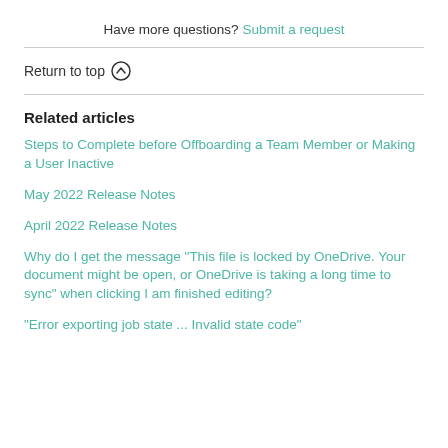Have more questions? Submit a request
Return to top ↑
Related articles
Steps to Complete before Offboarding a Team Member or Making a User Inactive
May 2022 Release Notes
April 2022 Release Notes
Why do I get the message "This file is locked by OneDrive. Your document might be open, or OneDrive is taking a long time to sync" when clicking I am finished editing?
"Error exporting job state ... Invalid state code"